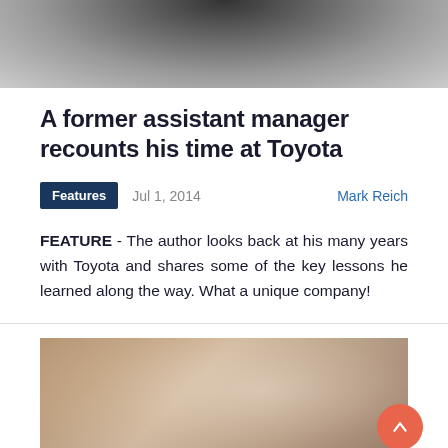[Figure (photo): Blurred/obscured header image with dark grey gradient tones]
A former assistant manager recounts his time at Toyota
Features   Jul 1, 2014   Mark Reich
FEATURE - The author looks back at his many years with Toyota and shares some of the key lessons he learned along the way. What a unique company!
[Figure (photo): Blurred/obscured image with warm beige and brown tones, with a red scroll-to-top button in the lower right corner]